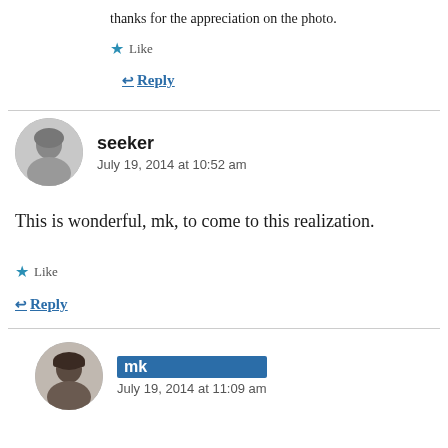thanks for the appreciation on the photo.
Like
Reply
seeker
July 19, 2014 at 10:52 am
This is wonderful, mk, to come to this realization.
Like
Reply
mk
July 19, 2014 at 11:09 am